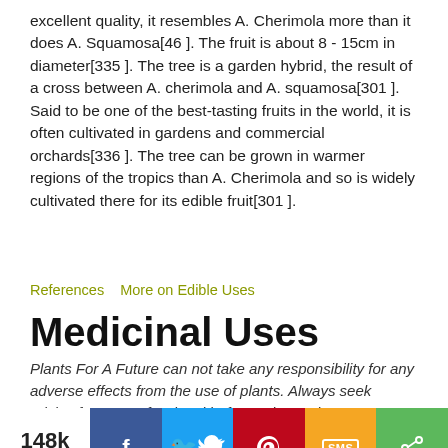excellent quality, it resembles A. Cherimola more than it does A. Squamosa[46 ]. The fruit is about 8 - 15cm in diameter[335 ]. The tree is a garden hybrid, the result of a cross between A. cherimola and A. squamosa[301 ]. Said to be one of the best-tasting fruits in the world, it is often cultivated in gardens and commercial orchards[336 ]. The tree can be grown in warmer regions of the tropics than A. Cherimola and so is widely cultivated there for its edible fruit[301 ].
References   More on Edible Uses
Medicinal Uses
Plants For A Future can not take any responsibility for any adverse effects from the use of plants. Always seek advice from a professional before using a plant medicinally.
[Figure (infographic): Social share bar showing 148k Shares with Facebook, Twitter, Pinterest, SMS, and share buttons]